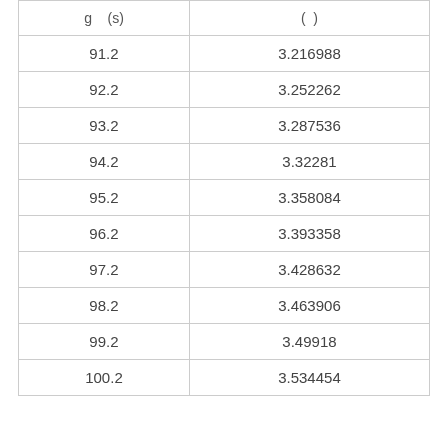| g (s) | (  ) |
| --- | --- |
| 91.2 | 3.216988 |
| 92.2 | 3.252262 |
| 93.2 | 3.287536 |
| 94.2 | 3.32281 |
| 95.2 | 3.358084 |
| 96.2 | 3.393358 |
| 97.2 | 3.428632 |
| 98.2 | 3.463906 |
| 99.2 | 3.49918 |
| 100.2 | 3.534454 |